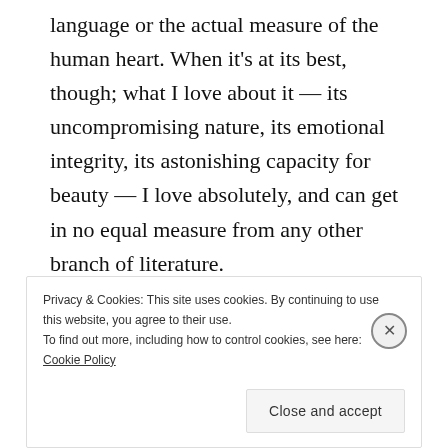language or the actual measure of the human heart. When it's at its best, though; what I love about it — its uncompromising nature, its emotional integrity, its astonishing capacity for beauty — I love absolutely, and can get in no equal measure from any other branch of literature.
[Figure (screenshot): WordPress VIP advertisement banner with logo on left and 'Learn more →' button on orange/pink gradient background]
Privacy & Cookies: This site uses cookies. By continuing to use this website, you agree to their use. To find out more, including how to control cookies, see here: Cookie Policy
Close and accept